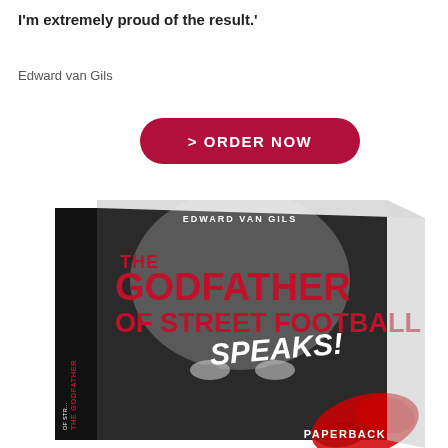I'm extremely proud of the result.'
Edward van Gils
> ORDER NOW
[Figure (photo): Book cover of 'The Godfather of Street Football Speaks!' by Edward van Gils, showing a close-up black and white face with red and white title text, with a red splash and 'PAPERBACK' text at bottom right. The book spine is visible on the left with the title text rotated vertically.]